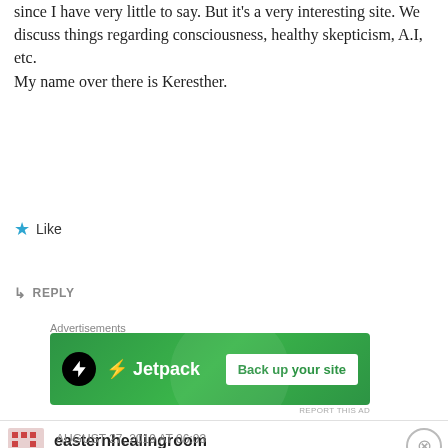since I have very little to say. But it's a very interesting site. We discuss things regarding consciousness, healthy skepticism, A.I, etc.
My name over there is Keresther.
★ Like
↳ REPLY
Advertisements
[Figure (screenshot): Jetpack advertisement banner: green background with Jetpack logo and 'Back up your site' button]
REPORT THIS AD
[Figure (photo): Avatar icon for user easternhealingroom]
easternhealingroom
AUGUST 27, 2019 AT 06:03
Advertisements
[Figure (screenshot): WooCommerce advertisement banner: purple background with WooCommerce logo and 'How to start selling subscriptions online' text]
REPORT THIS AD